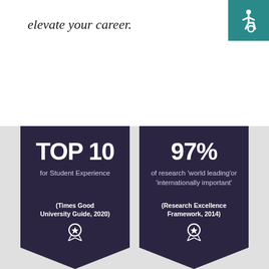elevate your career.
[Figure (illustration): Accessibility icon — wheelchair symbol in white on teal background]
[Figure (infographic): Two dark navy badge/pennant shapes. Left badge: TOP 10 for Student Experience (Times Good University Guide, 2020) with ribbon icon. Right badge: 97% of research 'world leading' or 'internationally important' (Research Excellence Framework, 2014) with ribbon icon.]